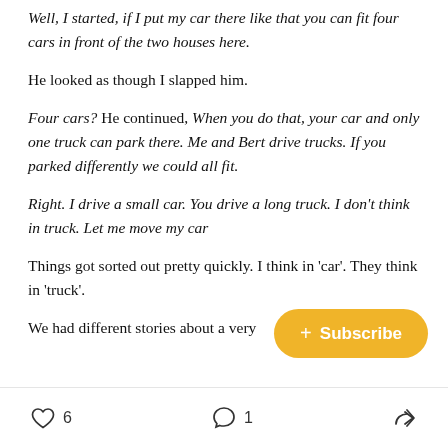Well, I started, if I put my car there like that you can fit four cars in front of the two houses here.
He looked as though I slapped him.
Four cars? He continued, When you do that, your car and only one truck can park there. Me and Bert drive trucks. If you parked differently we could all fit.
Right. I drive a small car. You drive a long truck. I don't think in truck. Let me move my car
Things got sorted out pretty quickly. I think in 'car'. They think in 'truck'.
We had different stories about a very
[Figure (other): Yellow Subscribe button with plus sign]
6 likes  1 comment  share